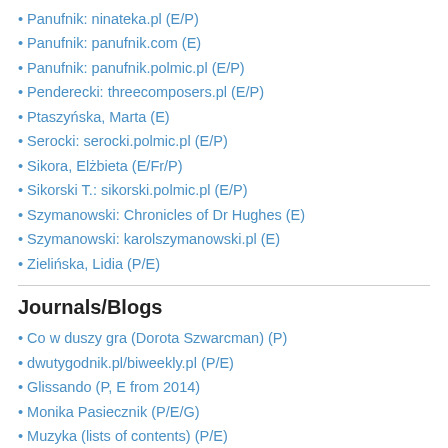Panufnik: ninateka.pl (E/P)
Panufnik: panufnik.com (E)
Panufnik: panufnik.polmic.pl (E/P)
Penderecki: threecomposers.pl (E/P)
Ptaszyńska, Marta (E)
Serocki: serocki.polmic.pl (E/P)
Sikora, Elżbieta (E/Fr/P)
Sikorski T.: sikorski.polmic.pl (E/P)
Szymanowski: Chronicles of Dr Hughes (E)
Szymanowski: karolszymanowski.pl (E)
Zielińska, Lidia (P/E)
Journals/Blogs
Co w duszy gra (Dorota Szwarcman) (P)
dwutygodnik.pl/biweekly.pl (P/E)
Glissando (P, E from 2014)
Monika Pasiecznik (P/E/G)
Muzyka (lists of contents) (P/E)